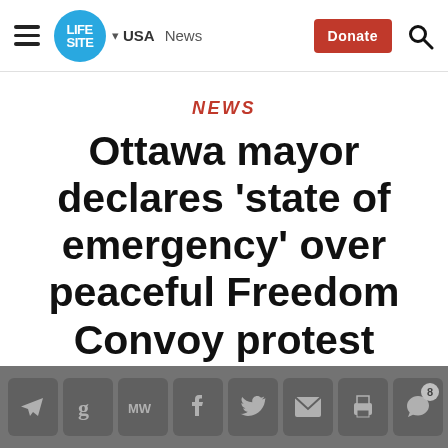LifeSite — USA  News  Donate
NEWS
Ottawa mayor declares 'state of emergency' over peaceful Freedom Convoy protest
Share bar: Telegram, Gettr, MeWe, Facebook, Twitter, Email, Print, Comments (8), Donate